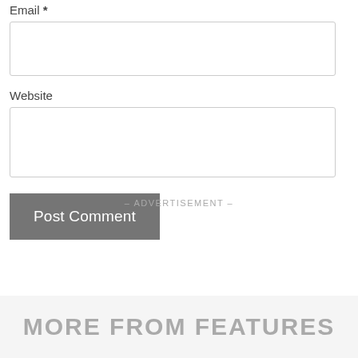Email *
Website
Post Comment
– ADVERTISEMENT –
MORE FROM FEATURES